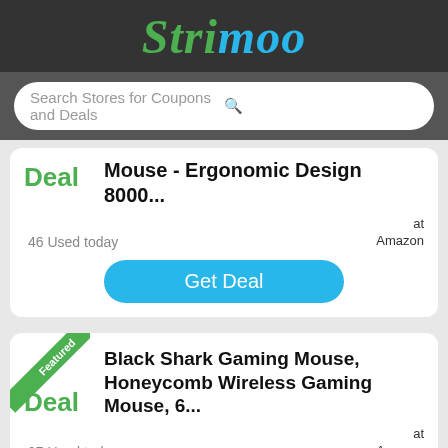Strimoo
Search Stores for Coupons and Deals
Deal  Mouse - Ergonomic Design 8000...  46 Used today  at Amazon
Get Deal
Featured  Deal  Black Shark Gaming Mouse, Honeycomb Wireless Gaming Mouse, 6...  97 Used today  at Amazon
Get Deal